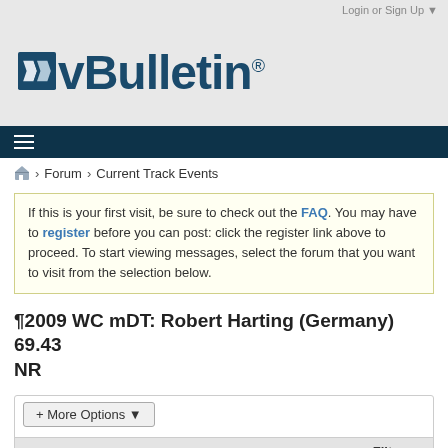Login or Sign Up ▼
[Figure (logo): vBulletin logo with stylized 'vB' icon and registered trademark symbol]
≡ (hamburger menu icon)
🏠 > Forum > Current Track Events
If this is your first visit, be sure to check out the FAQ. You may have to register before you can post: click the register link above to proceed. To start viewing messages, select the forum that you want to visit from the selection below.
¶2009 WC mDT: Robert Harting (Germany) 69.43 NR
+ More Options ✔
Filter ▼